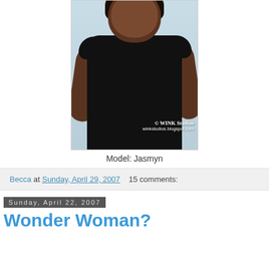[Figure (photo): Portrait photo of model Jasmyn, a woman wearing a black top against a light blue-grey background, with watermark '© WINK Studios / winkstudios.blogspot.com']
Model: Jasmyn
Becca at Sunday, April 29, 2007   15 comments:
Sunday, April 22, 2007
Wonder Woman?